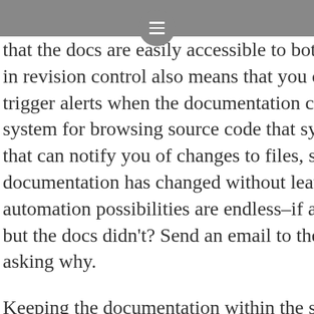≡
that the docs are easily accessible to both groups in revision control also means that you can set up trigger alerts when the documentation changes. system for browsing source code that system pro that can notify you of changes to files, so you can documentation has changed without leaving you automation possibilities are endless–if a specific s but the docs didn't? Send an email to the person asking why.
Keeping the documentation within the source tre the documentation always being checked out with